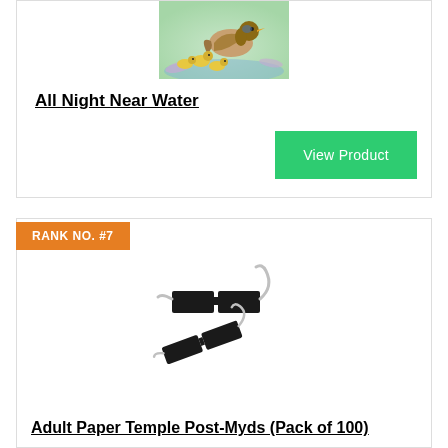[Figure (photo): Illustration of a duck with ducklings near water with lily petals]
All Night Near Water
View Product
RANK NO. #7
[Figure (photo): Black paper temple post-myds (prism glasses) product photo showing two pairs of glasses with curved wire temples]
Adult Paper Temple Post-Myds (Pack of 100)